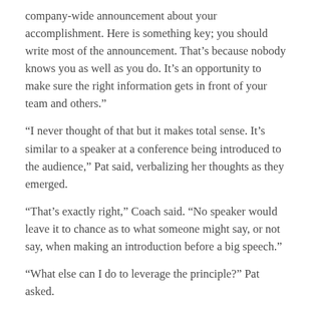company-wide announcement about your accomplishment. Here is something key; you should write most of the announcement. That’s because nobody knows you as well as you do. It’s an opportunity to make sure the right information gets in front of your team and others.”
“I never thought of that but it makes total sense. It’s similar to a speaker at a conference being introduced to the audience,” Pat said, verbalizing her thoughts as they emerged.
“That’s exactly right,” Coach said. “No speaker would leave it to chance as to what someone might say, or not say, when making an introduction before a big speech.”
“What else can I do to leverage the principle?” Pat asked.
“Two things, one of which you already did. I said this principle is about being a trusted expert. You can gain trust when you admit a weakness, shortcoming, or